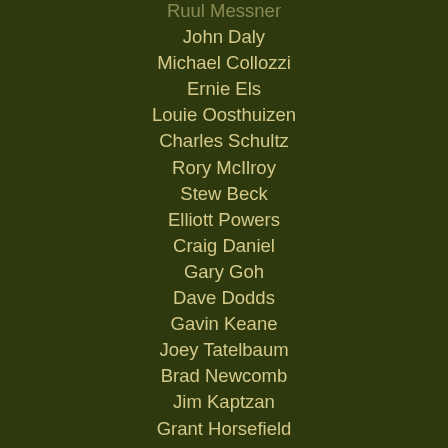Ruul Messner
John Daly
Michael Collozzi
Ernie Els
Louie Oosthuizen
Charles Schultz
Rory McIlroy
Stew Beck
Elliott Powers
Craig Daniel
Gary Goh
Dave Dodds
Gavin Keane
Joey Tatelbaum
Brad Newcomb
Jim Kaptzan
Grant Horsefield
Mark Jared
Rob Goble